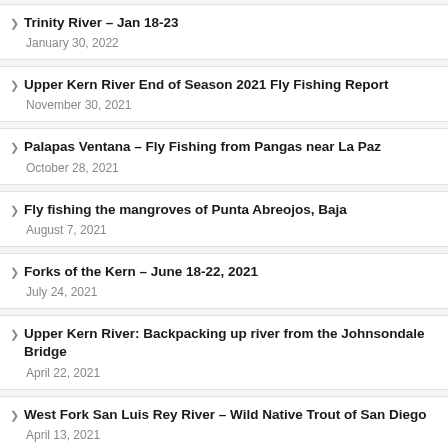Trinity River – Jan 18-23
January 30, 2022
Upper Kern River End of Season 2021 Fly Fishing Report
November 30, 2021
Palapas Ventana – Fly Fishing from Pangas near La Paz
October 28, 2021
Fly fishing the mangroves of Punta Abreojos, Baja
August 7, 2021
Forks of the Kern – June 18-22, 2021
July 24, 2021
Upper Kern River: Backpacking up river from the Johnsondale Bridge
April 22, 2021
West Fork San Luis Rey River – Wild Native Trout of San Diego
April 13, 2021